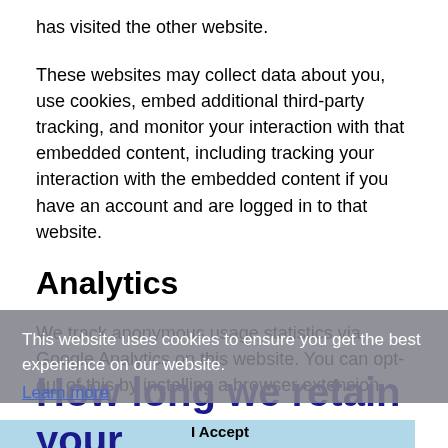has visited the other website.
These websites may collect data about you, use cookies, embed additional third-party tracking, and monitor your interaction with that embedded content, including tracking your interaction with the embedded content if you have an account and are logged in to that website.
Analytics
We track anonymous usage statistics via Google Analytics on this website. You can opt-out of this by installing a browser extension.
This website uses cookies to ensure you get the best experience on our website.
Learn more
How long we retain your data
I Accept
If you leave a comment, the comment and its metadata are retained indefinitely. This is so we can recognize and